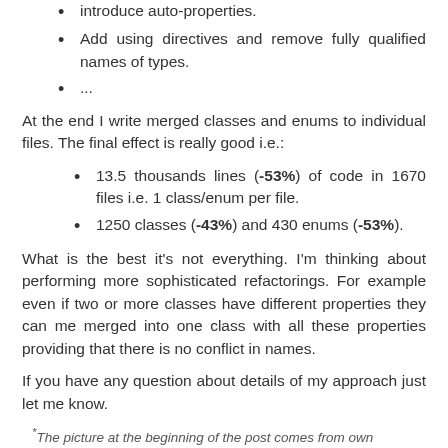introduce auto-properties.
Add using directives and remove fully qualified names of types.
...
At the end I write merged classes and enums to individual files. The final effect is really good i.e.:
13.5 thousands lines (-53%) of code in 1670 files i.e. 1 class/enum per file.
1250 classes (-43%) and 430 enums (-53%).
What is the best it's not everything. I'm thinking about performing more sophisticated refactorings. For example even if two or more classes have different properties they can me merged into one class with all these properties providing that there is no conflict in names.
If you have any question about details of my approach just let me know.
*The picture at the beginning of the post comes from own resources and shows Azulevo tiles somewhere in Portugal